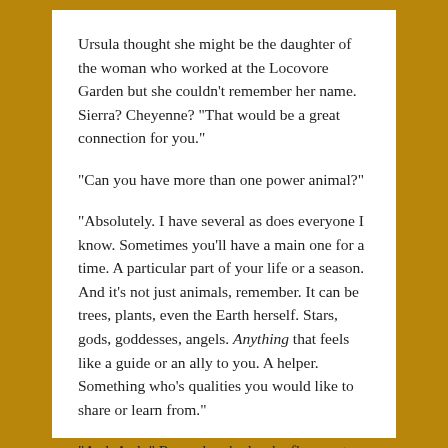Ursula thought she might be the daughter of the woman who worked at the Locovore Garden but she couldn't remember her name. Sierra? Cheyenne? “That would be a great connection for you.”
“Can you have more than one power animal?”
“Absolutely. I have several as does everyone I know. Sometimes you’ll have a main one for a time. A particular part of your life or a season. And it’s not just animals, remember. It can be trees, plants, even the Earth herself. Stars, gods, goddesses, angels. Anything that feels like a guide or an ally to you. A helper. Something who’s qualities you would like to share or learn from.”
“Awk Awk,” Raven laughed as he flew past with a handful of potato chips.
“Raven and I identified so much with our first animals that we changed our names to join them. He always has been